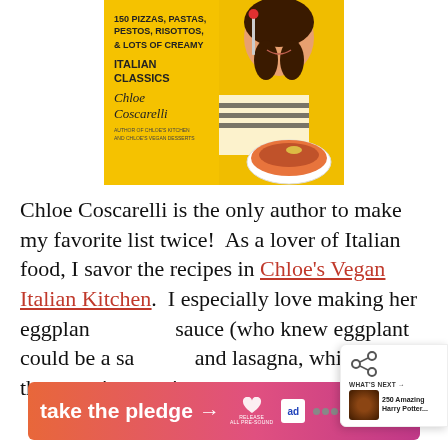[Figure (photo): Book cover for Chloe's Vegan Italian Kitchen by Chloe Coscarelli — yellow background with text '150 Pizzas, Pastas, Pestos, Risottos, & Lots of Creamy Italian Classics', author's name, and an image of a woman with a bowl of pasta]
Chloe Coscarelli is the only author to make my favorite list twice!  As a lover of Italian food, I savor the recipes in Chloe's Vegan Italian Kitchen.  I especially love making her eggplant sauce (who knew eggplant could be a sauce?!) and lasagna, which is a therapeutic experien...
[Figure (infographic): Share widget overlay showing share icon and 'WHAT'S NEXT → 250 Amazing Harry Potter...' with thumbnail]
[Figure (infographic): Advertisement banner: 'take the pledge →' with Release logo, ad badge, and dots logo]